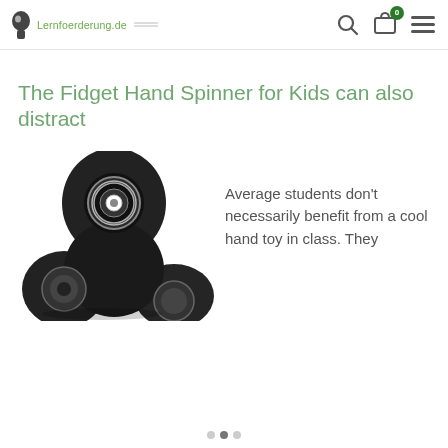Lernfoerderung.de
The Fidget Hand Spinner for Kids can also distract
[Figure (photo): Close-up photo of a black fidget hand spinner toy, showing the central bearing and one arm with a smaller bearing cap.]
Average students don’t necessarily benefit from a cool hand toy in class. They